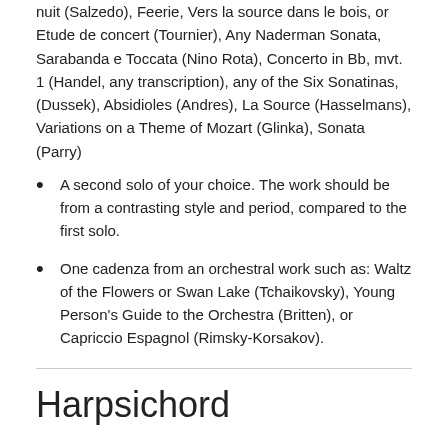nuit (Salzedo), Feerie, Vers la source dans le bois, or Etude de concert (Tournier), Any Naderman Sonata, Sarabanda e Toccata (Nino Rota), Concerto in Bb, mvt. 1 (Handel, any transcription), any of the Six Sonatinas, (Dussek), Absidioles (Andres), La Source (Hasselmans), Variations on a Theme of Mozart (Glinka), Sonata (Parry)
A second solo of your choice. The work should be from a contrasting style and period, compared to the first solo.
One cadenza from an orchestral work such as: Waltz of the Flowers or Swan Lake (Tchaikovsky), Young Person's Guide to the Orchestra (Britten), or Capriccio Espagnol (Rimsky-Korsakov).
Harpsichord
Performance of works from the standard repertoire: Bach inventions, Scarlatti sonatas, Couperin, etc. Students wi or no harpsichord experience will be considered for ma there are equivalent skills on organ or piano.